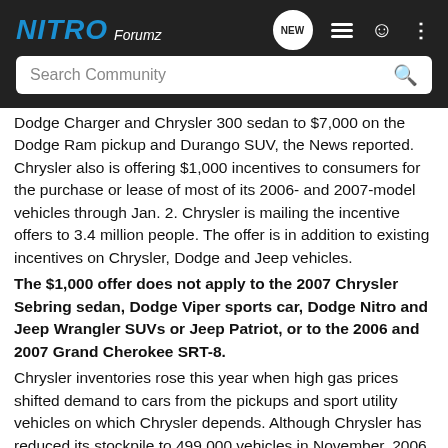NITRO Forumz
Dodge Charger and Chrysler 300 sedan to $7,000 on the Dodge Ram pickup and Durango SUV, the News reported. Chrysler also is offering $1,000 incentives to consumers for the purchase or lease of most of its 2006- and 2007-model vehicles through Jan. 2. Chrysler is mailing the incentive offers to 3.4 million people. The offer is in addition to existing incentives on Chrysler, Dodge and Jeep vehicles.
The $1,000 offer does not apply to the 2007 Chrysler Sebring sedan, Dodge Viper sports car, Dodge Nitro and Jeep Wrangler SUVs or Jeep Patriot, or to the 2006 and 2007 Grand Cherokee SRT-8.
Chrysler inventories rose this year when high gas prices shifted demand to cars from the pickups and sport utility vehicles on which Chrysler depends. Although Chrysler has reduced its stockpile to 499,000 vehicles in November, 2006 models